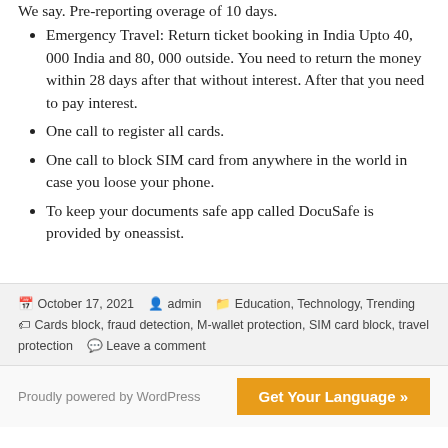Emergency Travel: Return ticket booking in India Upto 40, 000 India and 80, 000 outside. You need to return the money within 28 days after that without interest. After that you need to pay interest.
One call to register all cards.
One call to block SIM card from anywhere in the world in case you loose your phone.
To keep your documents safe app called DocuSafe is provided by oneassist.
Posted on October 17, 2021 by admin | Categories: Education, Technology, Trending | Tags: Cards block, fraud detection, M-wallet protection, SIM card block, travel protection | Leave a comment
Proudly powered by WordPress | Get Your Language »